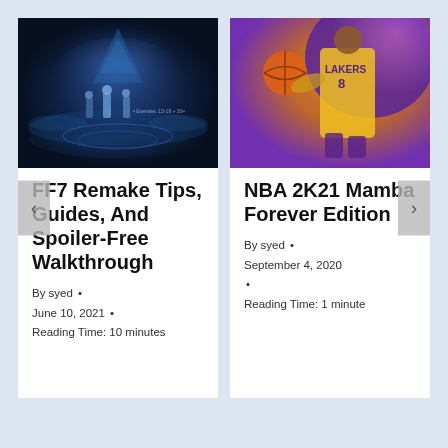[Figure (screenshot): FF7 Remake gameplay screenshot showing characters in a dark blue battle scene with glowing effects]
FF7 Remake Tips, Guides, And Spoiler-Free Walkthrough
By syed • June 10, 2021 • Reading Time: 10 minutes
[Figure (illustration): NBA 2K21 artwork showing a basketball player in Lakers #8 jersey dribbling against a colorful purple and orange background]
NBA 2K21 Mamba Forever Edition
By syed • September 4, 2020 • Reading Time: 1 minute